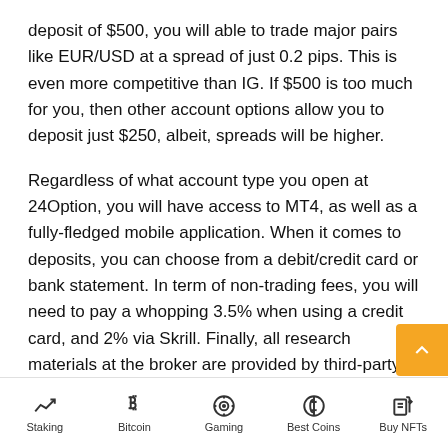deposit of $500, you will able to trade major pairs like EUR/USD at a spread of just 0.2 pips. This is even more competitive than IG. If $500 is too much for you, then other account options allow you to deposit just $250, albeit, spreads will be higher.
Regardless of what account type you open at 24Option, you will have access to MT4, as well as a fully-fledged mobile application. When it comes to deposits, you can choose from a debit/credit card or bank statement. In term of non-trading fees, you will need to pay a whopping 3.5% when using a credit card, and 2% via Skrill. Finally, all research materials at the broker are provided by third-party platform Trading Central.
Assets: Forex, CFDs in the form of stocks, indices, commodities, cryptocurrencies
Staking | Bitcoin | Gaming | Best Coins | Buy NFTs